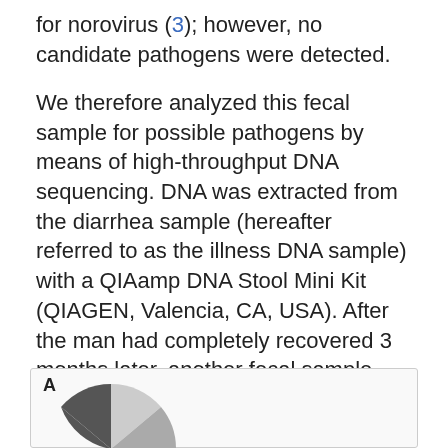for norovirus (3); however, no candidate pathogens were detected.
We therefore analyzed this fecal sample for possible pathogens by means of high-throughput DNA sequencing. DNA was extracted from the diarrhea sample (hereafter referred to as the illness DNA sample) with a QIAamp DNA Stool Mini Kit (QIAGEN, Valencia, CA, USA). After the man had completely recovered 3 months later, another fecal sample was collected (hereafter referred to as the recovery DNA sample) and maintained at −80°C until DNA extraction. Both DNA samples were subjected to unbiased high-throughput DNA sequencing with a GS20 sequencer (454 Life Sciences, Branford, CT, USA) (4).
[Figure (other): Bottom portion of a figure showing a pie chart labeled A, partially visible at the bottom of the page.]